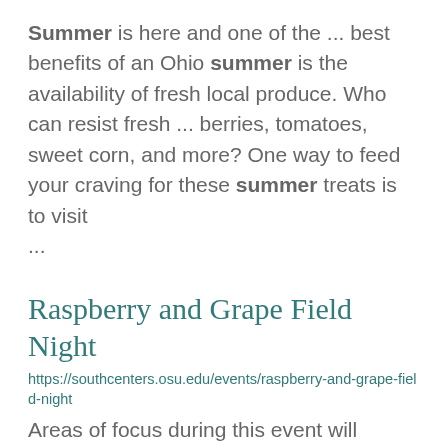Summer is here and one of the ... best benefits of an Ohio summer is the availability of fresh local produce. Who can resist fresh ... berries, tomatoes, sweet corn, and more? One way to feed your craving for these summer treats is to visit ...
Raspberry and Grape Field Night
https://southcenters.osu.edu/events/raspberry-and-grape-field-night
Areas of focus during this event will include: Summer and fall management of grapevines Overview and ...